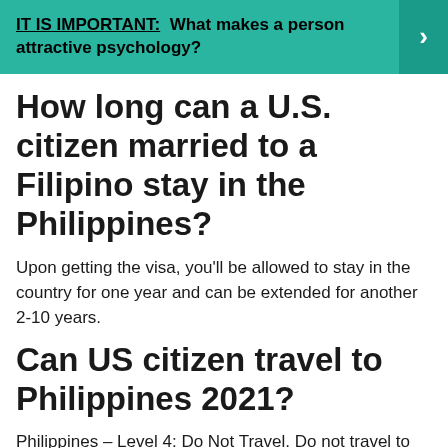[Figure (infographic): Teal/green banner with bold text: IT IS IMPORTANT: What makes a person attractive psychology? with a right-pointing arrow button on the right.]
How long can a U.S. citizen married to a Filipino stay in the Philippines?
Upon getting the visa, you'll be allowed to stay in the country for one year and can be extended for another 2-10 years.
Can US citizen travel to Philippines 2021?
Philippines – Level 4: Do Not Travel. Do not travel to the Philippines due to COVID-19.